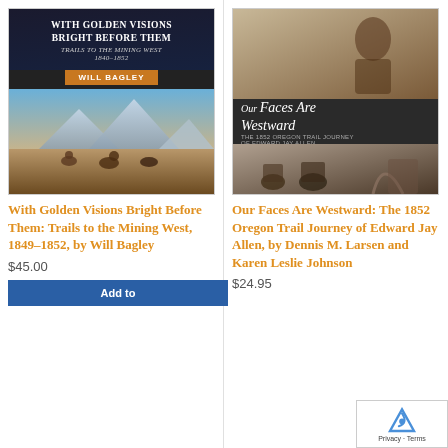[Figure (illustration): Book cover for 'With Golden Visions Bright Before Them: Trails to the Mining West 1840-1852' by Will Bagley. Dark background with title text and author badge, scenic western landscape art at bottom.]
With Golden Visions Bright Before Them: Trails to the Mining West, 1849-1852, by Will Bagley
$45.00
Add to
[Figure (illustration): Book cover for 'Our Faces Are Westward: The 1852 Oregon Trail Journey of Edward Jay Allen' by Dennis M. Larsen and Karen Leslie Johnson. Three-panel cover with sepia photo at top, title text in middle, and wagon train historical photo at bottom.]
Our Faces Are Westward: The 1852 Oregon Trail Journey of Edward Jay Allen, by Dennis M. Larsen and Karen Leslie Johnson
$24.95